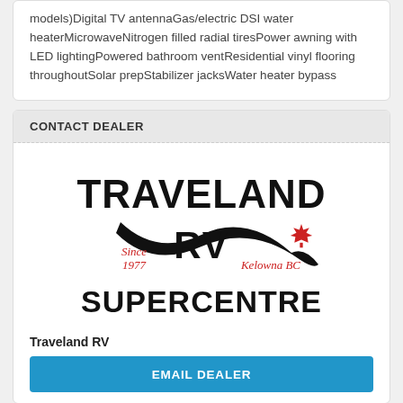models)Digital TV antennaGas/electric DSI water heaterMicrowaveNitrogen filled radial tiresPower awning with LED lightingPowered bathroom ventResidential vinyl flooring throughoutSolar prepStabilizer jacksWater heater bypass
CONTACT DEALER
[Figure (logo): Traveland RV Supercentre logo — black bold text reading TRAVELAND RV with a swoosh graphic, red maple leaf, red italic text 'Since 1977' and 'Kelowna BC', and bold black text SUPERCENTRE below]
Traveland RV
EMAIL DEALER